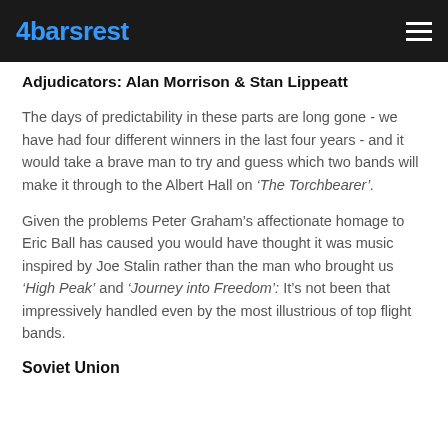4barsrest
Adjudicators: Alan Morrison & Stan Lippeatt
The days of predictability in these parts are long gone - we have had four different winners in the last four years - and it would take a brave man to try and guess which two bands will make it through to the Albert Hall on ‘The Torchbearer’.
Given the problems Peter Graham’s affectionate homage to Eric Ball has caused you would have thought it was music inspired by Joe Stalin rather than the man who brought us ‘High Peak’ and ‘Journey into Freedom’: It’s not been that impressively handled even by the most illustrious of top flight bands.
Soviet Union